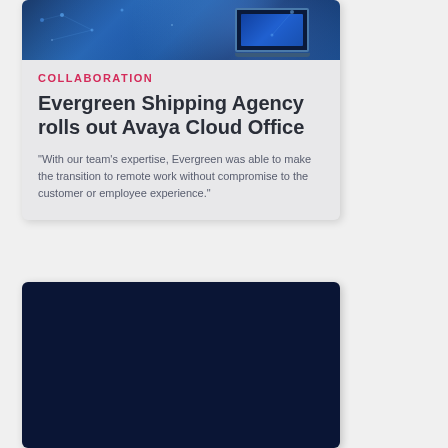[Figure (photo): Photo of a laptop with blue digital interface, used as header image for the collaboration card]
COLLABORATION
Evergreen Shipping Agency rolls out Avaya Cloud Office
"With our team’s expertise, Evergreen was able to make the transition to remote work without compromise to the customer or employee experience."
[Figure (photo): Photo of a glowing brain inside a light bulb held by two hands, representing AI or innovation, with blue digital network connections on dark background]